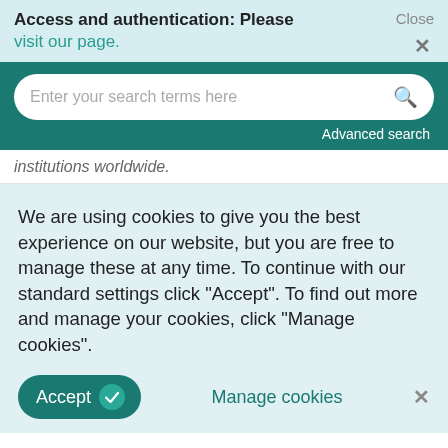Access and authentication: Please visit our page. Close ×
Enter your search terms here  Advanced search
institutions worldwide.
We are using cookies to give you the best experience on our website, but you are free to manage these at any time. To continue with our standard settings click "Accept". To find out more and manage your cookies, click "Manage cookies".
Accept ✓  Manage cookies  ×
Manager, is a member of COUNTER's International Advisory Board.